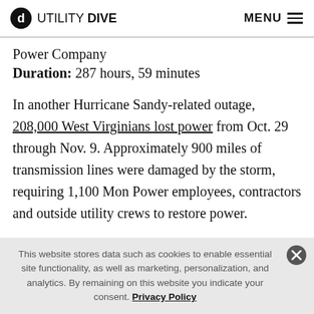UTILITY DIVE   MENU
Power Company
Duration: 287 hours, 59 minutes
In another Hurricane Sandy-related outage, 208,000 West Virginians lost power from Oct. 29 through Nov. 9. Approximately 900 miles of transmission lines were damaged by the storm, requiring 1,100 Mon Power employees, contractors and outside utility crews to restore power.
This website stores data such as cookies to enable essential site functionality, as well as marketing, personalization, and analytics. By remaining on this website you indicate your consent. Privacy Policy